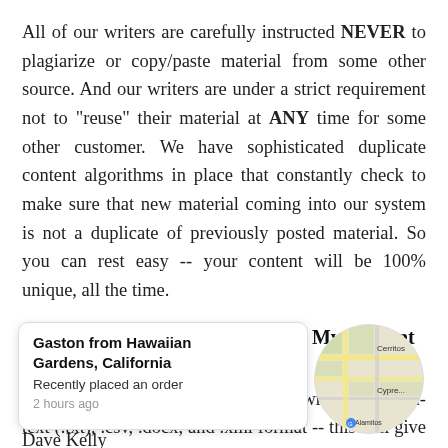All of our writers are carefully instructed NEVER to plagiarize or copy/paste material from some other source. And our writers are under a strict requirement not to "reuse" their material at ANY time for some other customer. We have sophisticated duplicate content algorithms in place that constantly check to make sure that new material coming into our system is not a duplicate of previously posted material. So you can rest easy -- your content will be 100% unique, all the time.
In What Form (File Format) Will My Content Be?
Your content will be developed and written in plain-text (.txt), .csv, .docx, and .xml format -- this will give you the greatest flexibility in how you can use it. It is, of course, extremely easy to convert them into any other type, whether it's for websites.
[Figure (infographic): A popup notification showing 'Gaston from Hawaiian Gardens, California - Recently placed an order - 2 hours ago' with a circular map thumbnail showing Cerritos, Cypress, and Alamitos areas.]
Dave Kelly